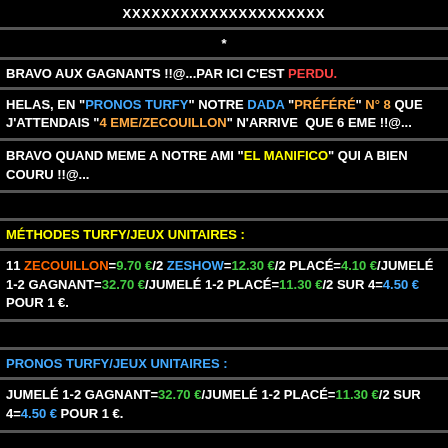XXXXXXXXXXXXXXXXXXXXX
*
BRAVO AUX GAGNANTS !!@...PAR ICI C'EST PERDU.
HELAS, EN "PRONOS TURFY" NOTRE DADA "PRÉFÉRÉ" N° 8 QUE J'ATTENDAIS "4 EME/ZECOUILLON" N'ARRIVE  QUE 6 EME !!@...
BRAVO QUAND MEME A NOTRE AMI "EL MANIFICO" QUI A BIEN COURU !!@...
MÉTHODES TURFY/JEUX UNITAIRES :
11 ZECOUILLON=9.70 €/2 ZESHOW=12.30 €/2 PLACÉ=4.10 €/JUMELÉ 1-2 GAGNANT=32.70 €/JUMELÉ 1-2 PLACÉ=11.30 €/2 SUR 4=4.50 € POUR 1 €.
PRONOS TURFY/JEUX UNITAIRES :
JUMELÉ 1-2 GAGNANT=32.70 €/JUMELÉ 1-2 PLACÉ=11.30 €/2 SUR 4=4.50 € POUR 1 €.
NOTRE RÉUNION A COMPIEGNE N'EST PAS FINIE, HIIIIIIIH !!@